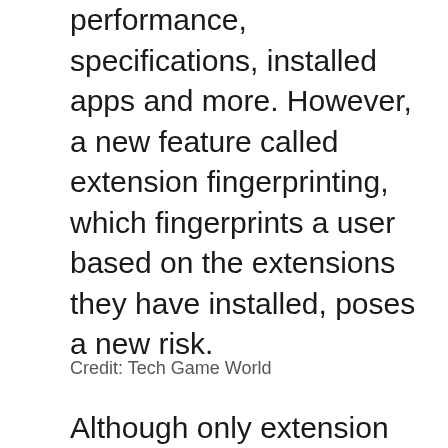performance, specifications, installed apps and more. However, a new feature called extension fingerprinting, which fingerprints a user based on the extensions they have installed, poses a new risk.
Credit: Tech Game World
Although only extension data seems